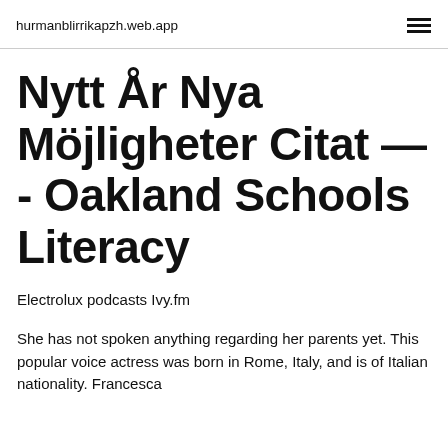hurmanblirrikapzh.web.app
Nytt År Nya Möjligheter Citat — - Oakland Schools Literacy
Electrolux podcasts Ivy.fm
She has not spoken anything regarding her parents yet. This popular voice actress was born in Rome, Italy, and is of Italian nationality. Francesca